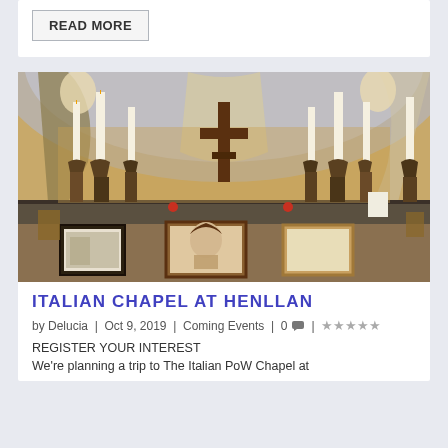READ MORE
[Figure (photo): Interior of the Italian Chapel at Henllan showing the altar with a wooden cross, candles on candlesticks, painted murals on the ceiling/walls, and framed pictures including a portrait of Jesus at the front.]
ITALIAN CHAPEL AT HENLLAN
by Delucia | Oct 9, 2019 | Coming Events | 0 💬 | ★★★★★
REGISTER YOUR INTEREST
We're planning a trip to The Italian PoW Chapel at